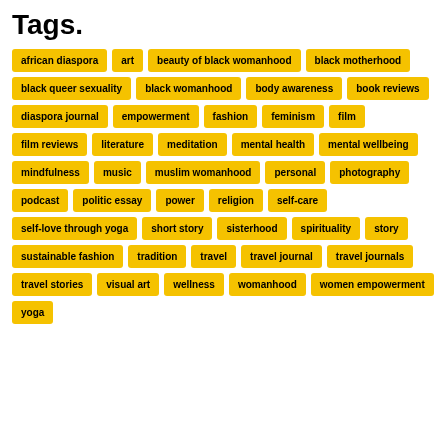Tags.
african diaspora
art
beauty of black womanhood
black motherhood
black queer sexuality
black womanhood
body awareness
book reviews
diaspora journal
empowerment
fashion
feminism
film
film reviews
literature
meditation
mental health
mental wellbeing
mindfulness
music
muslim womanhood
personal
photography
podcast
politic essay
power
religion
self-care
self-love through yoga
short story
sisterhood
spirituality
story
sustainable fashion
tradition
travel
travel journal
travel journals
travel stories
visual art
wellness
womanhood
women empowerment
yoga